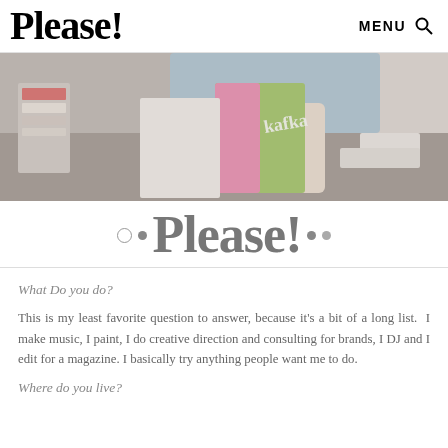Please! — MENU 🔍
[Figure (photo): Person reading a Kafka book, sitting at a wooden table with stacked books on the left, muted/desaturated color photo]
Please!
What Do you do?
This is my least favorite question to answer, because it's a bit of a long list.  I make music, I paint, I do creative direction and consulting for brands, I DJ and I edit for a magazine. I basically try anything people want me to do.
Where do you live?